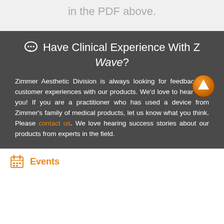in the PDF above.
Have Clinical Experience With Z Wave?
Zimmer Aesthetic Division is always looking for feedback on customer experiences with our products. We'd love to hear from you! If you are a practitioner who has used a device from Zimmer's family of medical products, let us know what you think. Please contact us. We love hearing success stories about our products from experts in the field.
Events